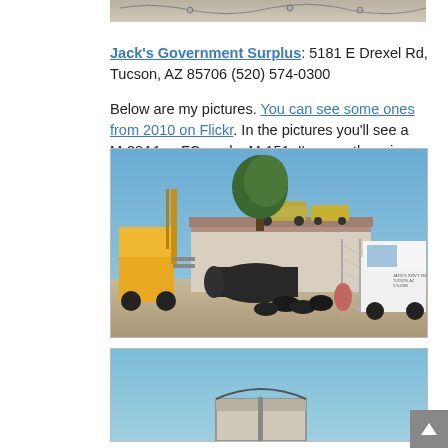[Figure (photo): Partial top of a photo showing barbed wire or fencing, cropped at top of page]
Jack's Government Surplus: 5181 E Drexel Rd, Tucson, AZ 85706 (520) 574-0300
Below are my pictures. You can see some ones from 2010 on Flickr. In the pictures you'll see a M-38A1, a FC, and a M-151. I'm sure there is more.
[Figure (photo): Outdoor yard of Jack's Government Surplus showing a forklift, large black tank, tires, chain-link fence, white pickup truck with signage, and military vehicles including jeeps on a rooftop, with trees and blue sky in background]
[Figure (photo): Partial photo at bottom showing blue sky and a sign or equipment, cropped]